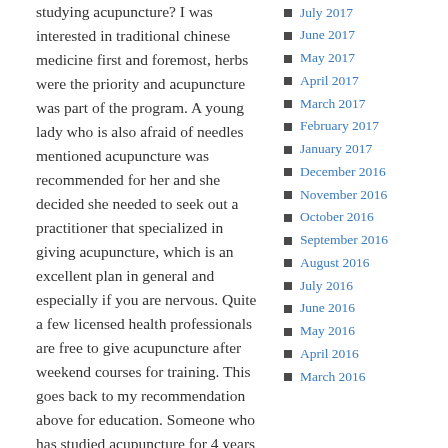studying acupuncture? I was interested in traditional chinese medicine first and foremost, herbs were the priority and acupuncture was part of the program. A young lady who is also afraid of needles mentioned acupuncture was recommended for her and she decided she needed to seek out a practitioner that specialized in giving acupuncture, which is an excellent plan in general and especially if you are nervous. Quite a few licensed health professionals are free to give acupuncture after weekend courses for training. This goes back to my recommendation above for education. Someone who has studied acupuncture for 4 years is different than someone who studied for 3 weeks. Feel free to ask questions. Your body is being 'punctured', so feeling comfortable with a practitioner takes on even more importance. If you are at all nervous or afraid
July 2017
June 2017
May 2017
April 2017
March 2017
February 2017
January 2017
December 2016
November 2016
October 2016
September 2016
August 2016
July 2016
June 2016
May 2016
April 2016
March 2016